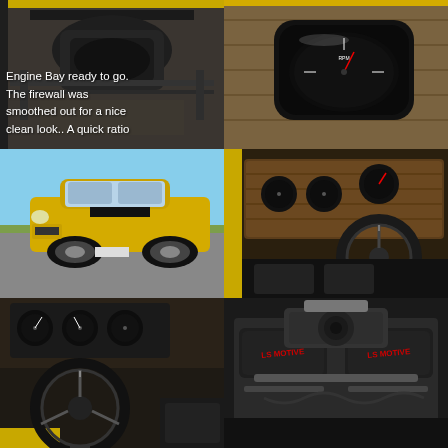[Figure (photo): Engine bay view from below showing firewall, smoothed out for a clean look. Text overlay reads: Engine Bay ready to go. The firewall was smoothed out for a nice clean look.. A quick ratio]
[Figure (photo): Close-up of a vintage car RPM gauge/tachometer with chrome bezel, reflected surroundings visible]
[Figure (photo): Yellow muscle car (Buick GSX or similar) parked on pavement with blue sky background]
[Figure (photo): Car interior showing dashboard with wood grain trim, steering wheel, and black upholstery seats]
[Figure (photo): Car interior view from driver side showing steering wheel and dashboard instruments]
[Figure (photo): Engine bay showing modern V8 engine with red lettering on intake manifold covers]